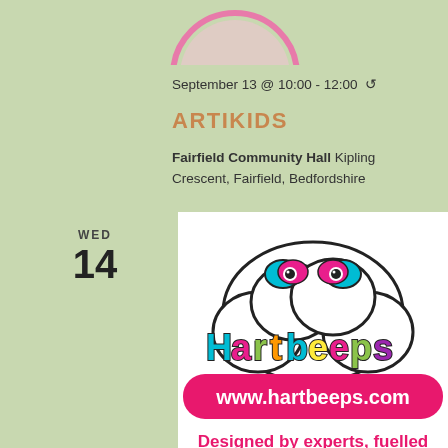[Figure (logo): Partial pink circular logo at top of page, partially cropped]
September 13 @ 10:00 - 12:00 ↺
ARTIKIDS
Fairfield Community Hall Kipling Crescent, Fairfield, Bedfordshire
WED
14
[Figure (logo): Hartbeeps logo: colorful bubbly text spelling 'hartbeeps' with a cloud shape above containing cartoon eyes, below is a pink rounded rectangle with www.hartbeeps.com in white text, and tagline 'Designed by experts, fuelled']